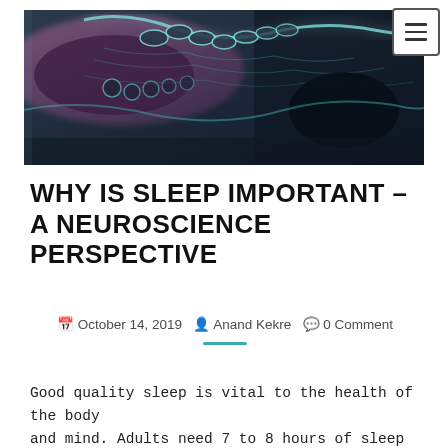[Figure (photo): Medical/neuroscience hero image showing stylized spine or brain scan in dark blue-grey tones with glowing teal neural/spinal highlights against a dark background.]
WHY IS SLEEP IMPORTANT – A NEUROSCIENCE PERSPECTIVE
October 14, 2019   Anand Kekre   0 Comment
Good quality sleep is vital to the health of the body and mind. Adults need 7 to 8 hours of sleep at night while adolescence needs around 9 to 10. We are just